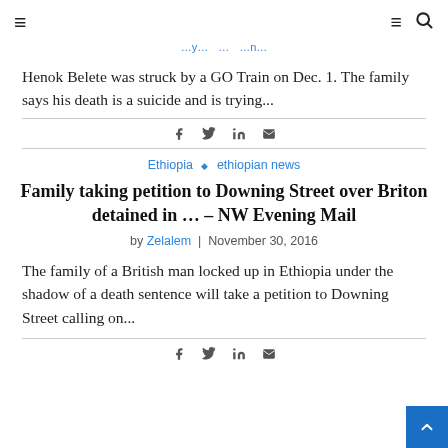≡  ≡ 🔍
Henok Belete was struck by a GO Train on Dec. 1. The family says his death is a suicide and is trying...
Ethiopia ◇ ethiopian news
Family taking petition to Downing Street over Briton detained in … – NW Evening Mail
by Zelalem | November 30, 2016
The family of a British man locked up in Ethiopia under the shadow of a death sentence will take a petition to Downing Street calling on...